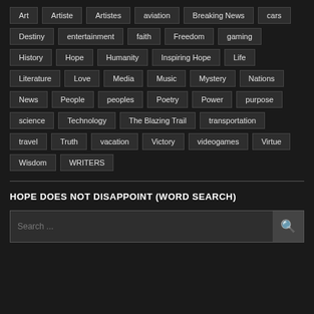Art, Artiste, Artistes, aviation, Breaking News, cars, Destiny, entertainment, faith, Freedom, gaming, History, Hope, Humanity, Inspiring Hope, Life, Literature, Love, Media, Music, Mystery, Nations, News, People, peoples, Poetry, Power, purpose, science, Technology, The Blazing Trail, transportation, travel, Truth, vacation, Victory, videogames, Virtue, Wisdom, WRITERS
HOPE DOES NOT DISAPPOINT (WORD SEARCH)
Search ...